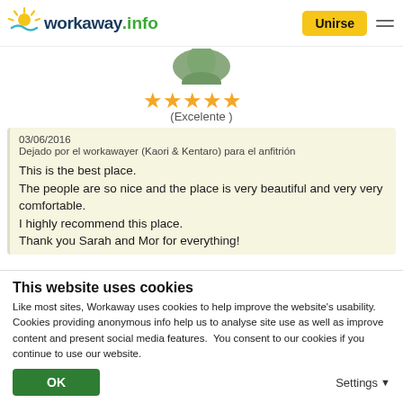workaway.info — Unirse
[Figure (photo): Circular profile photo of a workawayer, showing partial image cropped at top]
[Figure (other): 5 gold stars rating]
(Excelente )
03/06/2016
Dejado por el workawayer (Kaori & Kentaro) para el anfitrión

This is the best place.
The people are so nice and the place is very beautiful and very very comfortable.
I highly recommend this place.
Thank you Sarah and Mor for everything!
This website uses cookies
Like most sites, Workaway uses cookies to help improve the website's usability. Cookies providing anonymous info help us to analyse site use as well as improve content and present social media features.  You consent to our cookies if you continue to use our website.
OK
Settings